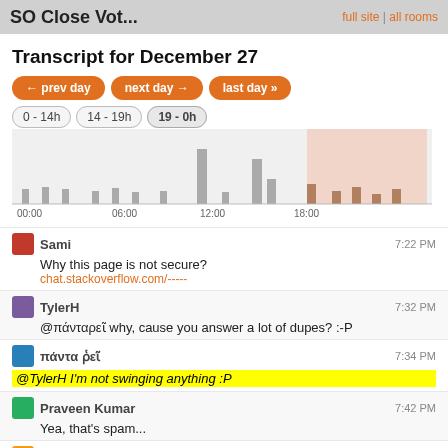SO Close Vot... | full site | all rooms
Transcript for December 27
← prev day
next day →
last day »
0 - 14h
14 - 19h
19 - 0h
[Figure (bar-chart): Message activity by hour]
Sami — 7:22 PM
Why this page is not secure?
chat.stackoverflow.com/-----
TylerH — 7:32 PM
@πάνταρεῖ why, cause you answer a lot of dupes? :-P
πάντα ῥεῖ — 7:34 PM
@TylerH I'm not swinging anything :P
Praveen Kumar — 7:42 PM
Yea, that's spam...
rene — 7:42 PM